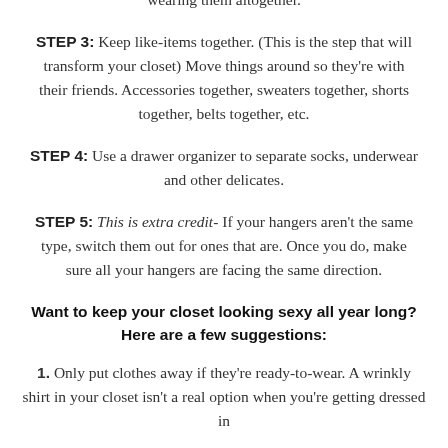wearing them altogether.
STEP 3: Keep like-items together. (This is the step that will transform your closet) Move things around so they're with their friends. Accessories together, sweaters together, shorts together, belts together, etc.
STEP 4: Use a drawer organizer to separate socks, underwear and other delicates.
STEP 5: This is extra credit- If your hangers aren't the same type, switch them out for ones that are. Once you do, make sure all your hangers are facing the same direction.
Want to keep your closet looking sexy all year long? Here are a few suggestions:
1. Only put clothes away if they're ready-to-wear. A wrinkly shirt in your closet isn't a real option when you're getting dressed in